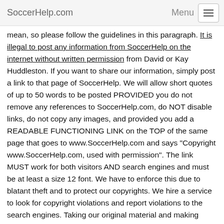SoccerHelp.com  Menu
mean, so please follow the guidelines in this paragraph. It is illegal to post any information from SoccerHelp on the internet without written permission from David or Kay Huddleston. If you want to share our information, simply post a link to that page of SoccerHelp. We will allow short quotes of up to 50 words to be posted PROVIDED you do not remove any references to SoccerHelp.com, do NOT disable links, do not copy any images, and provided you add a READABLE FUNCTIONING LINK on the TOP of the same page that goes to www.SoccerHelp.com and says "Copyright www.SoccerHelp.com, used with permission". The link MUST work for both visitors AND search engines and must be at least a size 12 font. We have to enforce this due to blatant theft and to protect our copyrights. We hire a service to look for copyright violations and report violations to the search engines. Taking our original material and making minor changes is still copyright violation and we WILL enforce our